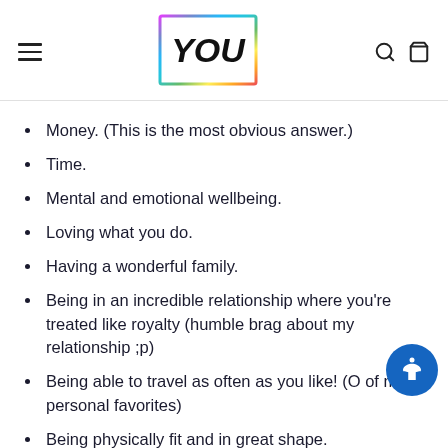YOU (logo with rainbow border)
Money. (This is the most obvious answer.)
Time.
Mental and emotional wellbeing.
Loving what you do.
Having a wonderful family.
Being in an incredible relationship where you're treated like royalty (humble brag about my relationship ;p)
Being able to travel as often as you like! (O of my personal favorites)
Being physically fit and in great shape.
Having your health.
Having a rich and intelligent mind. ( YES YES